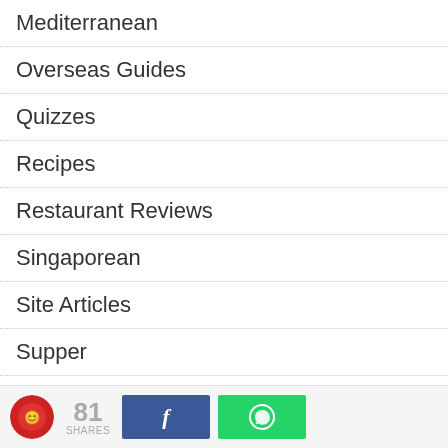Mediterranean
Overseas Guides
Quizzes
Recipes
Restaurant Reviews
Singaporean
Site Articles
Supper
Thai
Tiger Street Food
Vietnamese
Western
81 SHARES